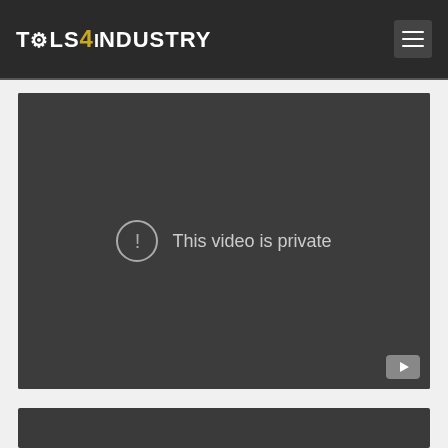TOOLS4INDUSTRY
[Figure (screenshot): Embedded video player showing 'This video is private' error message with YouTube icon in bottom-right corner. Dark grey background with a circle-exclamation icon and the text 'This video is private'.]
[Figure (screenshot): Partial dark panel at the bottom of the page, same style as the video container above.]